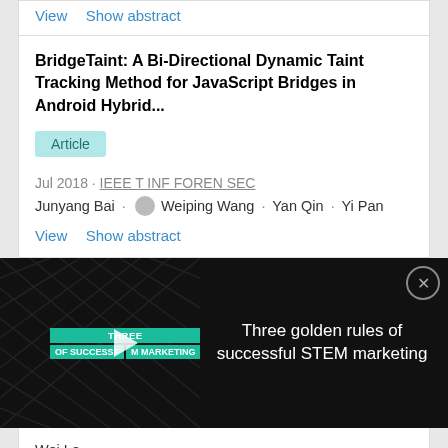View   Show abstract
BridgeTaint: A Bi-Directional Dynamic Taint Tracking Method for JavaScript Bridges in Android Hybrid...
Article
Jul 2018 · IEEE T INF FOREN SEC
Junyang Bai · Weiping Wang · Yan Qin · Yi Pan
View   Show abstract
[Figure (screenshot): Video advertisement banner with black background showing 'Three golden rules of successful STEM marketing' with a play button and teal/green text labels on the left side]
Wei Le
View   Show abstract